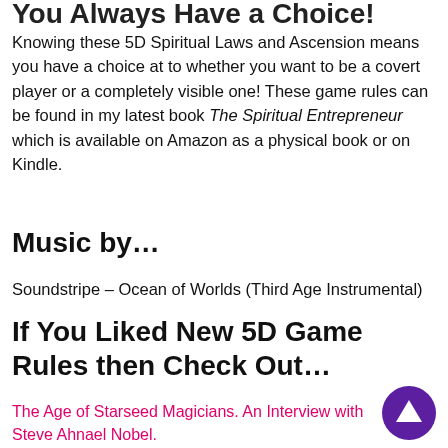You Always Have a Choice!
Knowing these 5D Spiritual Laws and Ascension means you have a choice at to whether you want to be a covert player or a completely visible one! These game rules can be found in my latest book The Spiritual Entrepreneur which is available on Amazon as a physical book or on Kindle.
Music by…
Soundstripe – Ocean of Worlds (Third Age Instrumental)
If You Liked New 5D Game Rules then Check Out…
The Age of Starseed Magicians. An Interview with Steve Ahnael Nobel.